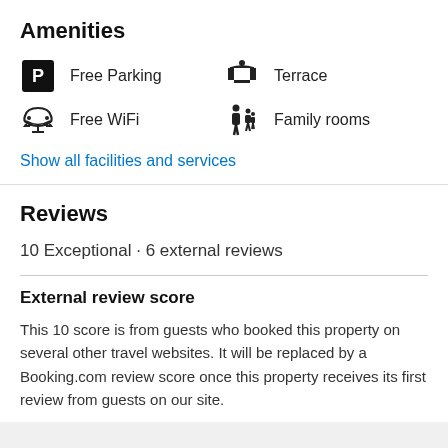Amenities
Free Parking
Free WiFi
Terrace
Family rooms
Show all facilities and services
Reviews
10 Exceptional · 6 external reviews
External review score
This 10 score is from guests who booked this property on several other travel websites. It will be replaced by a Booking.com review score once this property receives its first review from guests on our site.